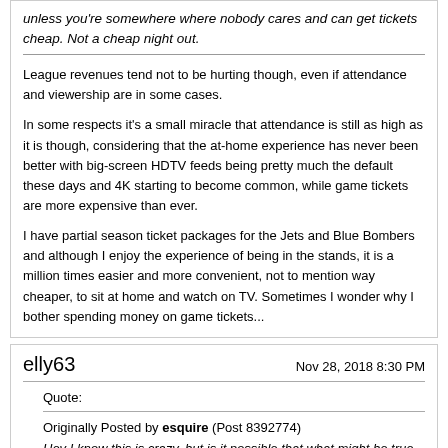unless you're somewhere where nobody cares and can get tickets cheap. Not a cheap night out.
League revenues tend not to be hurting though, even if attendance and viewership are in some cases.
In some respects it's a small miracle that attendance is still as high as it is though, considering that the at-home experience has never been better with big-screen HDTV feeds being pretty much the default these days and 4K starting to become common, while game tickets are more expensive than ever.
I have partial season ticket packages for the Jets and Blue Bombers and although I enjoy the experience of being in the stands, it is a million times easier and more convenient, not to mention way cheaper, to sit at home and watch on TV. Sometimes I wonder why I bother spending money on game tickets...
elly63
Nov 28, 2018 8:30 PM
Quote:
Originally Posted by esquire (Post 8392774)
Hey I know this is crazy, but is it possible that what might be true in Toronto does not necessarily apply to the rest of the country?